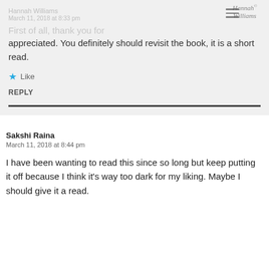Hannah Williams
March 11, 2018 at 8:33 pm
First of all, thank you for stopping by.It is much appreciated. You definitely should revisit the book, it is a short read.
Like
REPLY
Sakshi Raina
March 11, 2018 at 8:44 pm
I have been wanting to read this since so long but keep putting it off because I think it’s way too dark for my liking. Maybe I should give it a read.